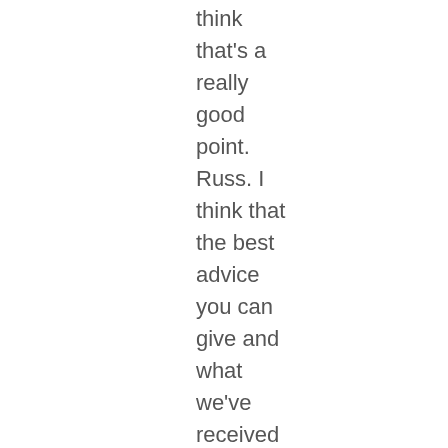think that's a really good point. Russ. I think that the best advice you can give and what we've received